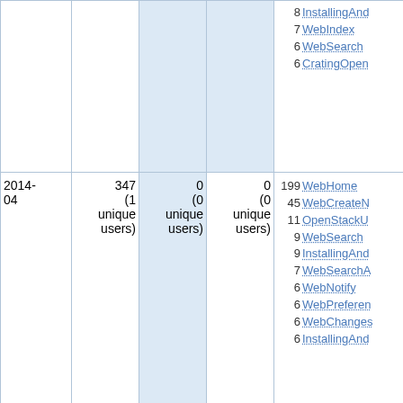| Date | Views | Edits | Unique editors | Top pages |
| --- | --- | --- | --- | --- |
|  |  |  |  | 8 InstallingAnd...
7 WebIndex
6 WebSearch
6 CratingOpen... |
| 2014-04 | 347 (1 unique users) | 0 (0 unique users) | 0 (0 unique users) | 199 WebHome
45 WebCreateN...
11 OpenStackU...
9 WebSearch
9 InstallingAnd...
7 WebSearchA...
6 WebNotify
6 WebPreferen...
6 WebChanges...
6 InstallingAnd... |
| 2014-03 | 418 (1 unique users) | 0 (0 unique users) | 0 (0 unique users) | 138 WebHome
100 WebCreateN...
16 InstallingAnd...
13 Installazione...
12 CratingOpen...
11 WebTopMen...
11 WebChanges...
10 WebSearch
10 InstallingAnd... |